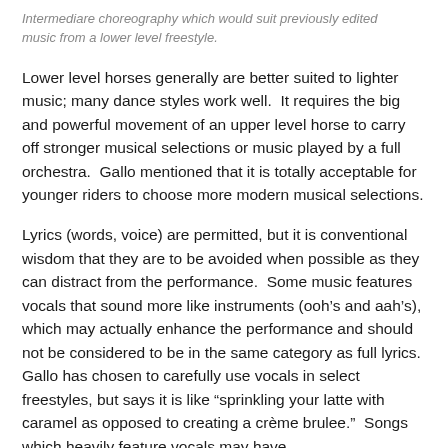Intermediare choreography which would suit previously edited music from a lower level freestyle.
Lower level horses generally are better suited to lighter music; many dance styles work well.  It requires the big and powerful movement of an upper level horse to carry off stronger musical selections or music played by a full orchestra.  Gallo mentioned that it is totally acceptable for younger riders to choose more modern musical selections.
Lyrics (words, voice) are permitted, but it is conventional wisdom that they are to be avoided when possible as they can distract from the performance.  Some music features vocals that sound more like instruments (ooh’s and aah’s), which may actually enhance the performance and should not be considered to be in the same category as full lyrics.  Gallo has chosen to carefully use vocals in select freestyles, but says it is like “sprinkling your latte with caramel as opposed to creating a crème brulee.”  Songs which heavily feature vocals may have